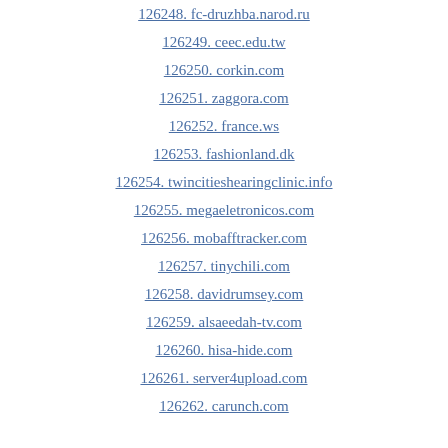126248. fc-druzhba.narod.ru
126249. ceec.edu.tw
126250. corkin.com
126251. zaggora.com
126252. france.ws
126253. fashionland.dk
126254. twincitieshearingclinic.info
126255. megaeletronicos.com
126256. mobafftracker.com
126257. tinychili.com
126258. davidrumsey.com
126259. alsaeedah-tv.com
126260. hisa-hide.com
126261. server4upload.com
126262. carunch.com